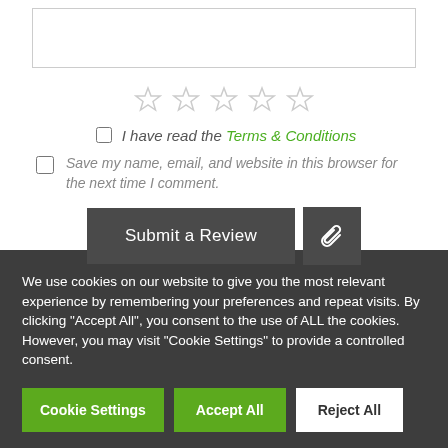[Figure (screenshot): Textarea input box with resize handle]
[Figure (other): Five empty star rating icons in a row]
I have read the Terms & Conditions
Save my name, email, and website in this browser for the next time I comment.
[Figure (screenshot): Submit a Review button and paperclip attachment button]
We use cookies on our website to give you the most relevant experience by remembering your preferences and repeat visits. By clicking "Accept All", you consent to the use of ALL the cookies. However, you may visit "Cookie Settings" to provide a controlled consent.
[Figure (screenshot): Cookie Settings, Accept All, and Reject All buttons]